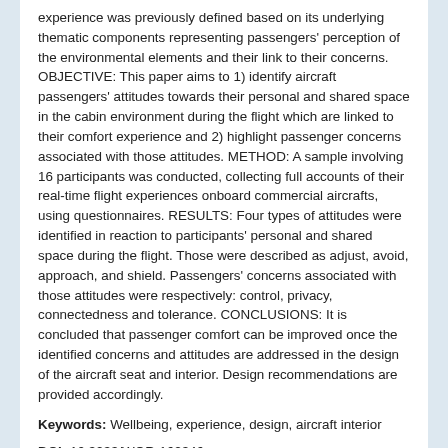experience was previously defined based on its underlying thematic components representing passengers' perception of the environmental elements and their link to their concerns. OBJECTIVE: This paper aims to 1) identify aircraft passengers' attitudes towards their personal and shared space in the cabin environment during the flight which are linked to their comfort experience and 2) highlight passenger concerns associated with those attitudes. METHOD: A sample involving 16 participants was conducted, collecting full accounts of their real-time flight experiences onboard commercial aircrafts, using questionnaires. RESULTS: Four types of attitudes were identified in reaction to participants' personal and shared space during the flight. Those were described as adjust, avoid, approach, and shield. Passengers' concerns associated with those attitudes were respectively: control, privacy, connectedness and tolerance. CONCLUSIONS: It is concluded that passenger comfort can be improved once the identified concerns and attitudes are addressed in the design of the aircraft seat and interior. Design recommendations are provided accordingly.
Keywords: Wellbeing, experience, design, aircraft interior
DOI: 10.3233/WOR-162346
Journal: Work, Submitted: 2016